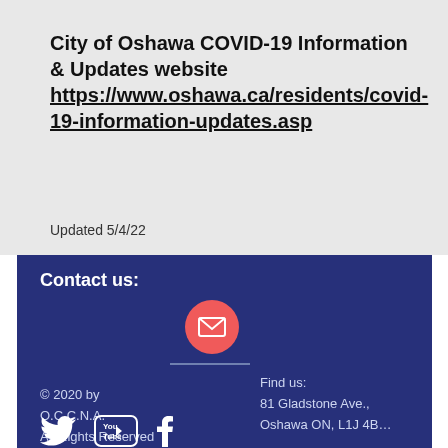City of Oshawa COVID-19 Information & Updates website https://www.oshawa.ca/residents/covid-19-information-updates.asp
Updated 5/4/22
Contact us: Find us: 81 Gladstone Ave., Oshawa ON, L1J 4B... © 2020 by O.C.C.N.A. All Rights Reserved